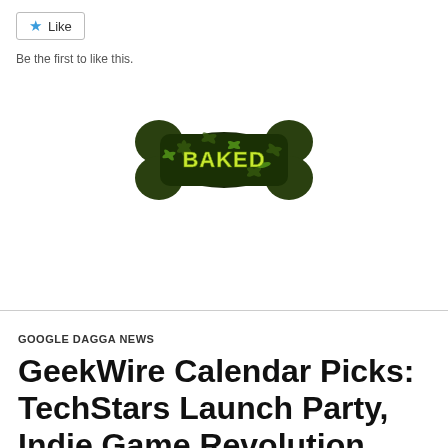Like
Be the first to like this.
[Figure (photo): A dog bone toy with cannabis leaf pattern and the word 'BAKED' in yellow lettering on a dark green background]
GOOGLE DAGGA NEWS
GeekWire Calendar Picks: TechStars Launch Party, Indie Game Revolution